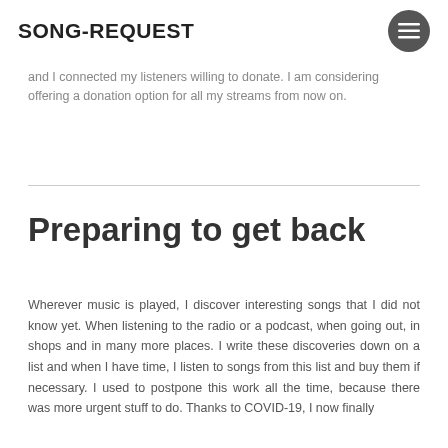SONG-REQUEST
and I connected my listeners willing to donate. I am considering offering a donation option for all my streams from now on.
Preparing to get back
Wherever music is played, I discover interesting songs that I did not know yet. When listening to the radio or a podcast, when going out, in shops and in many more places. I write these discoveries down on a list and when I have time, I listen to songs from this list and buy them if necessary. I used to postpone this work all the time, because there was more urgent stuff to do. Thanks to COVID-19, I now finally